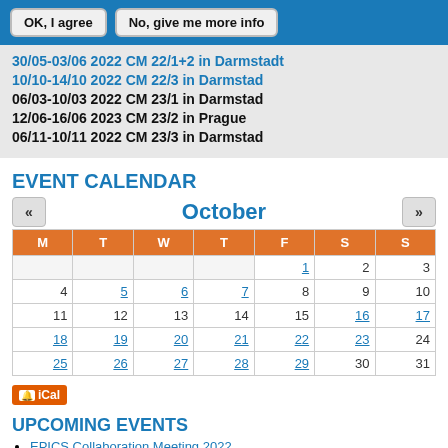OK, I agree | No, give me more info
30/05-03/06 2022 CM 22/1+2 in Darmstadt
10/10-14/10 2022 CM 22/3 in Darmstad
06/03-10/03 2022 CM 23/1 in Darmstad
12/06-16/06 2023 CM 23/2 in Prague
06/11-10/11 2022 CM 23/3 in Darmstad
EVENT CALENDAR
| M | T | W | T | F | S | S |
| --- | --- | --- | --- | --- | --- | --- |
|  |  |  |  | 1 | 2 | 3 |
| 4 | 5 | 6 | 7 | 8 | 9 | 10 |
| 11 | 12 | 13 | 14 | 15 | 16 | 17 |
| 18 | 19 | 20 | 21 | 22 | 23 | 24 |
| 25 | 26 | 27 | 28 | 29 | 30 | 31 |
UPCOMING EVENTS
EPICS Collaboration Meeting 2022